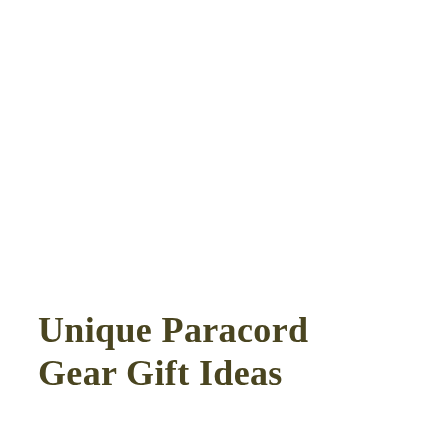Unique Paracord Gear Gift Ideas